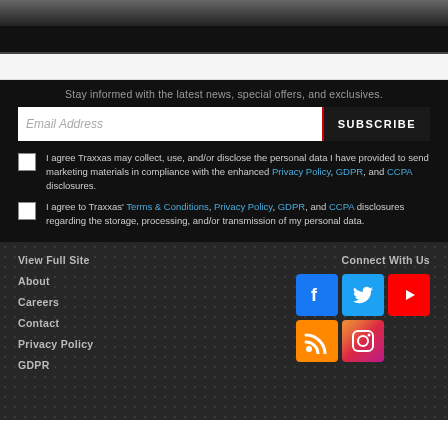[Figure (photo): Dark banner image at top of page]
Stay informed with the latest news, special offers, and exclusives.
Email Address | SUBSCRIBE button
I agree Traxxas may collect, use, and/or disclose the personal data I have provided to send marketing materials in compliance with the enhanced Privacy Policy, GDPR, and CCPA disclosures.
I agree to Traxxas' Terms & Conditions, Privacy Policy, GDPR, and CCPA disclosures regarding the storage, processing, and/or transmission of my personal data.
View Full Site
About
Careers
Contact
Privacy Policy
GDPR
Connect With Us
[Figure (illustration): Social media icons: Facebook, Twitter, YouTube, RSS, Instagram]